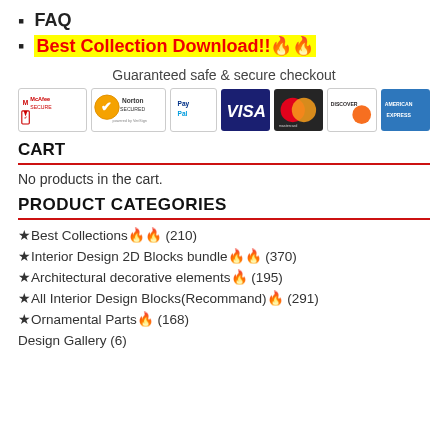FAQ
Best Collection Download!!🔥🔥
[Figure (infographic): Guaranteed safe & secure checkout banner with McAfee SECURE, Norton SECURED by VeriSign, PayPal, VISA, Mastercard, Discover, and American Express payment badge logos.]
CART
No products in the cart.
PRODUCT CATEGORIES
★Best Collections🔥🔥 (210)
★Interior Design 2D Blocks bundle🔥🔥 (370)
★Architectural decorative elements🔥 (195)
★All Interior Design Blocks(Recommand)🔥 (291)
★Ornamental Parts🔥 (168)
Design Gallery (6)